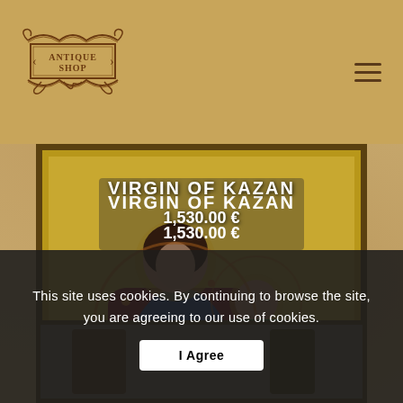ANTIQUE SHOP
VIRGIN OF KAZAN
1,530.00 €
[Figure (photo): Religious icon painting depicting the Virgin of Kazan (Madonna and Child). The Virgin Mary is shown wearing a dark red robe over a golden garment, holding or gesturing toward the Christ child who is dressed in green and gold. The icon has a traditional Orthodox Christian style with gold background elements.]
[Figure (photo): Partial view of another item/icon in the antique shop, mostly obscured by the cookie consent banner.]
This site uses cookies. By continuing to browse the site, you are agreeing to our use of cookies.
I Agree